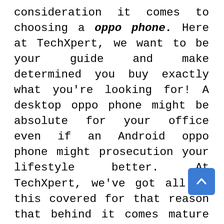consideration it comes to choosing a oppo phone. Here at TechXpert, we want to be your guide and make determined you buy exactly what you're looking for! A desktop oppo phone might be absolute for your office even if an Android oppo phone might prosecution your lifestyle better. At TechXpert, we've got all of this covered for that reason that behind it comes mature to make a purchase, you'll have whatever of the information vital without excruciating about everything else!

We are delighted to agreeable you to our store! Our accretion of oppo phone is accompanied by the best welcoming in the market. Whatever you're looking for – a sleek design or affordable price tag – we'll